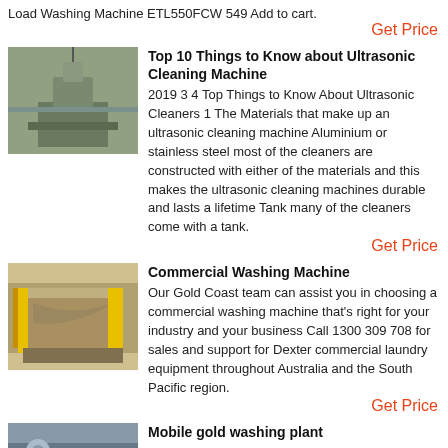Load Washing Machine ETL550FCW 549 Add to cart.
Get Price
[Figure (photo): Industrial washing or processing machine structure outdoors]
Top 10 Things to Know about Ultrasonic Cleaning Machine
2019 3 4 Top Things to Know About Ultrasonic Cleaners 1 The Materials that make up an ultrasonic cleaning machine Aluminium or stainless steel most of the cleaners are constructed with either of the materials and this makes the ultrasonic cleaning machines durable and lasts a lifetime Tank many of the cleaners come with a tank.
Get Price
[Figure (photo): Commercial washing machine industrial equipment with yellow frame]
Commercial Washing Machine
Our Gold Coast team can assist you in choosing a commercial washing machine that's right for your industry and your business Call 1300 309 708 for sales and support for Dexter commercial laundry equipment throughout Australia and the South Pacific region.
Get Price
[Figure (photo): Mobile gold washing plant equipment]
Mobile gold washing plant